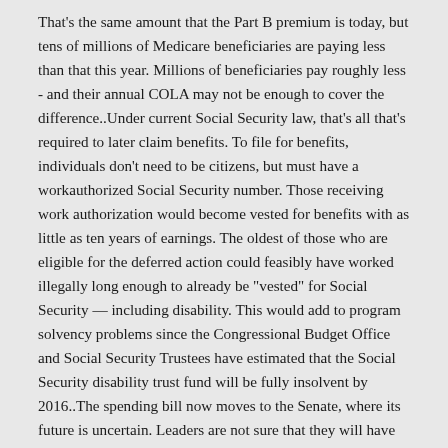That's the same amount that the Part B premium is today, but tens of millions of Medicare beneficiaries are paying less than that this year. Millions of beneficiaries pay roughly less - and their annual COLA may not be enough to cover the difference..Under current Social Security law, that's all that's required to later claim benefits. To file for benefits, individuals don't need to be citizens, but must have a workauthorized Social Security number. Those receiving work authorization would become vested for benefits with as little as ten years of earnings. The oldest of those who are eligible for the deferred action could feasibly have worked illegally long enough to already be "vested" for Social Security — including disability. This would add to program solvency problems since the Congressional Budget Office and Social Security Trustees have estimated that the Social Security disability trust fund will be fully insolvent by 2016..The spending bill now moves to the Senate, where its future is uncertain. Leaders are not sure that they will have the votes needed to pass the bill in its